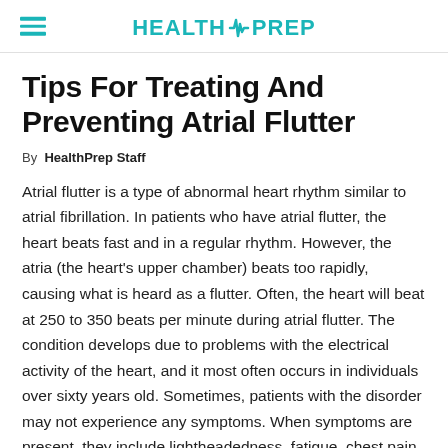HEALTH PREP
Tips For Treating And Preventing Atrial Flutter
By HealthPrep Staff
Atrial flutter is a type of abnormal heart rhythm similar to atrial fibrillation. In patients who have atrial flutter, the heart beats fast and in a regular rhythm. However, the atria (the heart's upper chamber) beats too rapidly, causing what is heard as a flutter. Often, the heart will beat at 250 to 350 beats per minute during atrial flutter. The condition develops due to problems with the electrical activity of the heart, and it most often occurs in individuals over sixty years old. Sometimes, patients with the disorder may not experience any symptoms. When symptoms are present, they include lightheadedness, fatigue, chest pain,